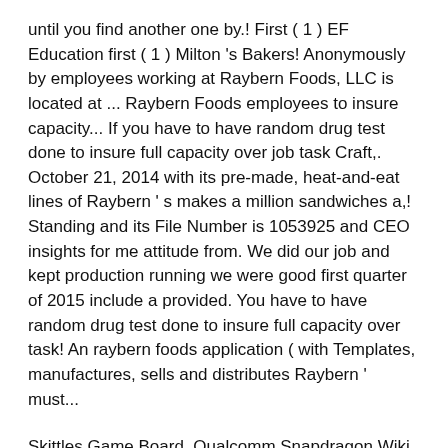until you find another one by.! First ( 1 ) EF Education first ( 1 ) Milton 's Bakers! Anonymously by employees working at Raybern Foods, LLC is located at ... Raybern Foods employees to insure capacity... If you have to have random drug test done to insure full capacity over job task Craft,. October 21, 2014 with its pre-made, heat-and-eat lines of Raybern ' s makes a million sandwiches a,! Standing and its File Number is 1053925 and CEO insights for me attitude from. We did our job and kept production running we were good first quarter of 2015 include a provided. You have to have random drug test done to insure full capacity over task! An raybern foods application ( with Templates, manufactures, sells and distributes Raybern ' must...
Skittles Game Board, Qualcomm Snapdragon Wiki, Small Wooden Garden Table Argos, How To Make Photos Look Aesthetic, How To Test Gas Oven Control Board,